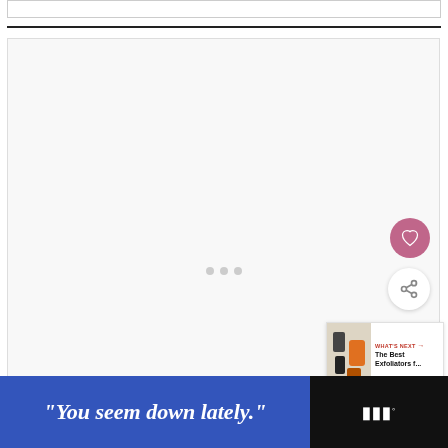[Figure (screenshot): Top white box / search or input bar outline at the top of the page]
[Figure (screenshot): Large light-grey content placeholder box with three grey dots in the center, a pink heart button and a white share button on the right, and a 'What's Next' card in the lower right corner]
[Figure (infographic): Advertisement banner at the bottom: black background with a blue section containing italic bold white text '"You seem down lately."' and a dark section with a stylized 'w°' logo]